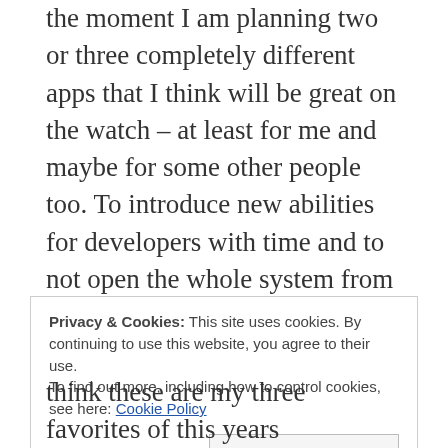the moment I am planning two or three completely different apps that I think will be great on the watch – at least for me and maybe for some other people too. To introduce new abilities for developers with time and to not open the whole system from day one is a good move as I believe – it gives developers time to get in touch with the device and also let the users become familiar with the Watch before getting flooded by a lot of apps that aren't working as they expect. With the introduction of watchOS 2 the Watch will be an even more powerful tool as it is already
Privacy & Cookies: This site uses cookies. By continuing to use this website, you agree to their use.
To find out more, including how to control cookies, see here: Cookie Policy
Close and accept
think these are my three favorites of this years